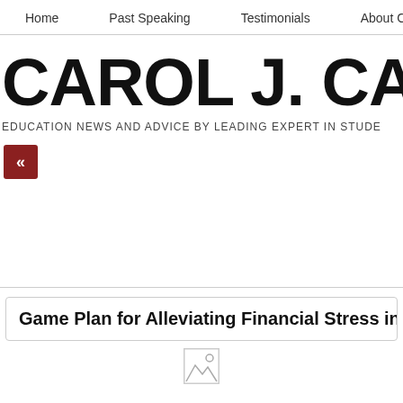Home   Past Speaking   Testimonials   About Caro
CAROL J. CAR
EDUCATION NEWS AND ADVICE BY LEADING EXPERT IN STUDE
[Figure (other): Navigation back button with double left chevron (<<) in dark red square]
Game Plan for Alleviating Financial Stress in
[Figure (photo): Broken image placeholder icon]